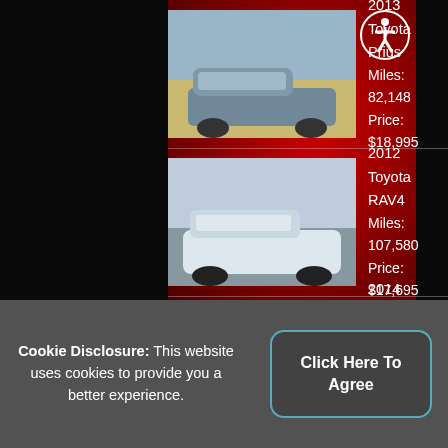2013 Toyota Prius
Miles: 82,148
Price: $18,995
2012 Toyota RAV4
Miles: 107,580
Price: $17,695
2014 Toyota RAV4
Miles: 74,181
Price: $22,495
Cookie Disclosure: This website uses cookies to provide you a better experience.
Click Here To Agree